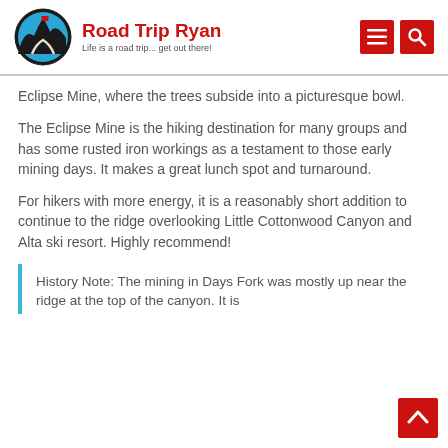Road Trip Ryan — Life is a road trip... get out there!
Eclipse Mine, where the trees subside into a picturesque bowl.
The Eclipse Mine is the hiking destination for many groups and has some rusted iron workings as a testament to those early mining days. It makes a great lunch spot and turnaround.
For hikers with more energy, it is a reasonably short addition to continue to the ridge overlooking Little Cottonwood Canyon and Alta ski resort. Highly recommend!
History Note: The mining in Days Fork was mostly up near the ridge at the top of the canyon. It is